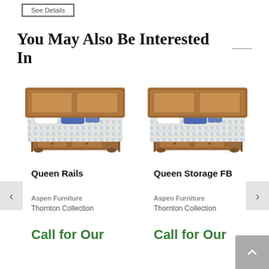See Details
You May Also Be Interested In
[Figure (photo): Queen bed with brown wooden headboard and footboard with storage drawers, blue and white patterned bedding]
Queen Rails
Aspen Furniture
Thornton Collection
Call for Our
[Figure (photo): Queen bed with brown wooden headboard and footboard with storage drawers, blue and white patterned bedding]
Queen Storage FB
Aspen Furniture
Thornton Collection
Call for Our